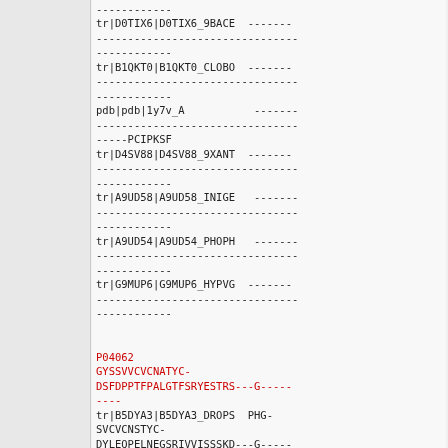Sequence alignment data showing multiple sequence alignment entries with gap characters and sequence identifiers including tr|D0TIX6|D0TIX6_9BACE, tr|B1QKT0|B1QKT0_CLOBO, pdb|pdb|1y7v_A, tr|D4SV88|D4SV88_9XANT, tr|A9UD58|A9UD58_INIGE, tr|A9UD54|A9UD54_PHOPH, tr|G9MUP6|G9MUP6_HYPVG, followed by P04062 sequence in red and tr|B5DYA3|B5DYA3_DROPS sequence.